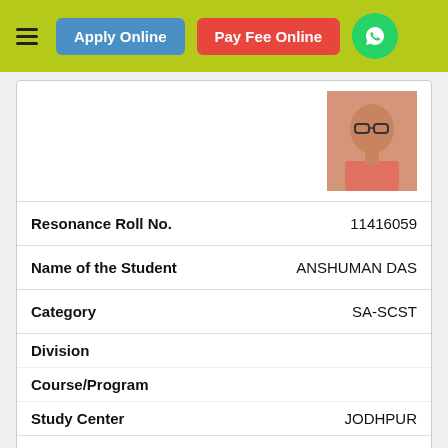Apply Online | Pay Fee Online
[Figure (photo): Student passport photo in top card, wearing glasses and salmon/pink shirt]
| Field | Value |
| --- | --- |
| Resonance Roll No. | 11416059 |
| Name of the Student | ANSHUMAN DAS |
| Category | SA-SCST |
| Division |  |
| Course/Program |  |
| Study Center | JODHPUR |
| Selected Stream | SA |
| Field | Value |
| --- | --- |
| Sr. No. | 44 |
| Student's Photo |  |
[Figure (photo): Student passport photo in bottom card, partial view]